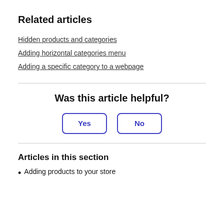Related articles
Hidden products and categories
Adding horizontal categories menu
Adding a specific category to a webpage
Was this article helpful?
Yes
No
Articles in this section
Adding products to your store